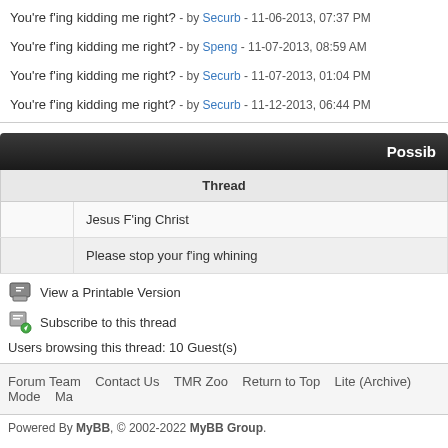You're f'ing kidding me right? - by Securb - 11-06-2013, 07:37 PM
You're f'ing kidding me right? - by Speng - 11-07-2013, 08:59 AM
You're f'ing kidding me right? - by Securb - 11-07-2013, 01:04 PM
You're f'ing kidding me right? - by Securb - 11-12-2013, 06:44 PM
Possib
| Thread |
| --- |
| Jesus F'ing Christ |
| Please stop your f'ing whining |
View a Printable Version
Subscribe to this thread
Users browsing this thread: 10 Guest(s)
Forum Team   Contact Us   TMR Zoo   Return to Top   Lite (Archive) Mode   Ma
Powered By MyBB, © 2002-2022 MyBB Group.